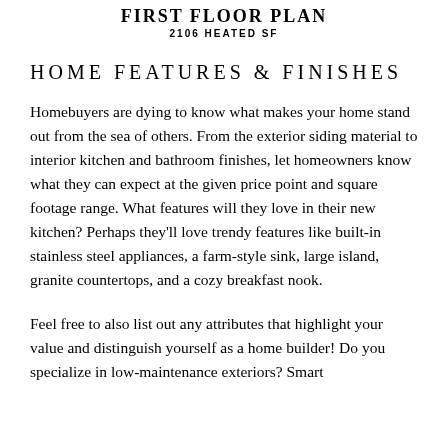FIRST FLOOR PLAN
2106 HEATED SF
HOME FEATURES & FINISHES
Homebuyers are dying to know what makes your home stand out from the sea of others. From the exterior siding material to interior kitchen and bathroom finishes, let homeowners know what they can expect at the given price point and square footage range. What features will they love in their new kitchen? Perhaps they'll love trendy features like built-in stainless steel appliances, a farm-style sink, large island, granite countertops, and a cozy breakfast nook.
Feel free to also list out any attributes that highlight your value and distinguish yourself as a home builder! Do you specialize in low-maintenance exteriors? Smart